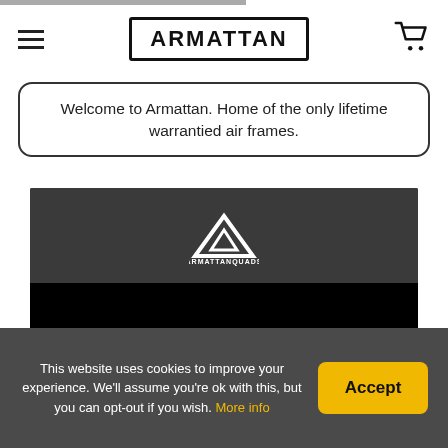ARMATTAN
Welcome to Armattan. Home of the only lifetime warrantied air frames.
[Figure (screenshot): Video thumbnail showing Armattan Quads logo with text ARMATTANQUADS on dark gravel background]
Armattan Ti Chameleon | Long range edition! - GregPhillipsEdits
Chameleon Ti 6 -
This website uses cookies to improve your experience. We'll assume you're ok with this, but you can opt-out if you wish. More info